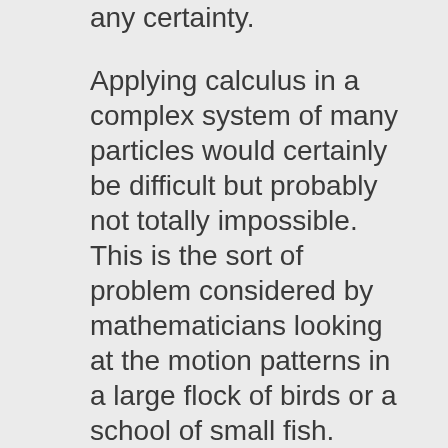any certainty.
Applying calculus in a complex system of many particles would certainly be difficult but probably not totally impossible. This is the sort of problem considered by mathematicians looking at the motion patterns in a large flock of birds or a school of small fish.
What is interesting in complex atomic systems is how there are some similarities to the motion and direction of